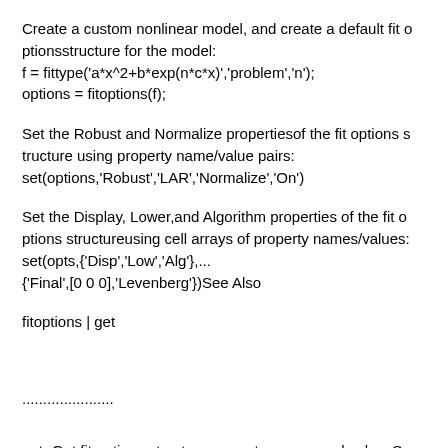Create a custom nonlinear model, and create a default fit optionsstructure for the model:
f = fittype('a*x^2+b*exp(n*c*x)','problem','n');
options = fitoptions(f);
Set the Robust and Normalize propertiesof the fit options structure using property name/value pairs:
set(options,'Robust','LAR','Normalize','On')
Set the Display, Lower,and Algorithm properties of the fit options structureusing cell arrays of property names/values:
set(opts,{'Disp','Low','Alg'},...
{'Final',[0 0 0],'Levenberg'})See Also
fitoptions | get
......................
get -Get fit options structure property names and valuesSyntax